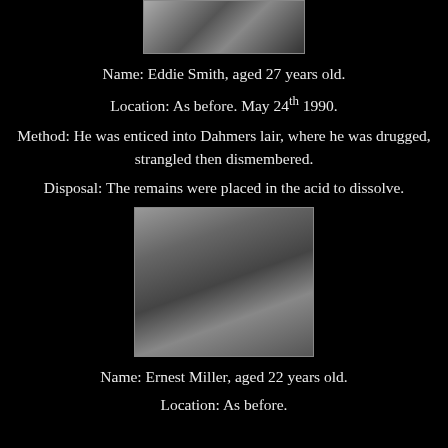[Figure (photo): Partial black and white photo of a person, cropped at top of page]
Name: Eddie Smith, aged 27 years old.
Location: As before. May 24th 1990.
Method: He was enticed into Dahmers lair, where he was drugged, strangled then dismembered.
Disposal: The remains were placed in the acid to dissolve.
[Figure (photo): Black and white photograph of Ernest Miller, a young man]
Name: Ernest Miller, aged 22 years old.
Location: As before.